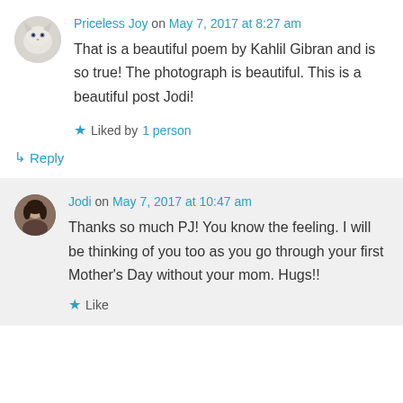[Figure (photo): Circular avatar of a white/light-colored cat]
Priceless Joy on May 7, 2017 at 8:27 am
That is a beautiful poem by Kahlil Gibran and is so true! The photograph is beautiful. This is a beautiful post Jodi!
★ Liked by 1 person
↳ Reply
[Figure (photo): Circular avatar of a woman with dark hair]
Jodi on May 7, 2017 at 10:47 am
Thanks so much PJ! You know the feeling. I will be thinking of you too as you go through your first Mother's Day without your mom. Hugs!!
★ Like